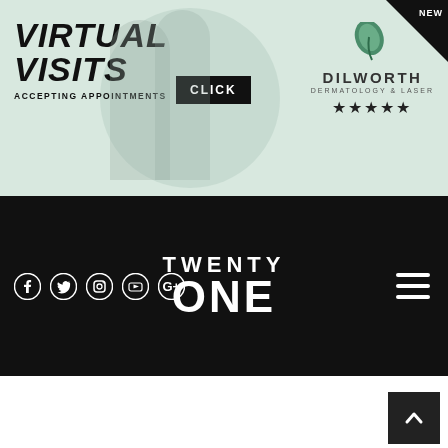[Figure (screenshot): Advertisement banner for Dilworth Dermatology & Laser with Virtual Visits text, CLICK button, logo with leaf icon and 5 stars, and NEW corner ribbon]
[Figure (screenshot): Navigation bar with social media icons (Facebook, Twitter, Instagram, YouTube, Google+), Twenty One logo in white bold text, and hamburger menu icon]
[Figure (screenshot): White content area below the navigation bar with back-to-top arrow button in dark square at bottom right]